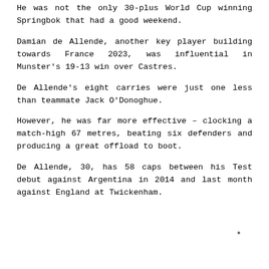He was not the only 30-plus World Cup winning Springbok that had a good weekend.
Damian de Allende, another key player building towards France 2023, was influential in Munster's 19-13 win over Castres.
De Allende's eight carries were just one less than teammate Jack O'Donoghue.
However, he was far more effective – clocking a match-high 67 metres, beating six defenders and producing a great offload to boot.
De Allende, 30, has 58 caps between his Test debut against Argentina in 2014 and last month against England at Twickenham.
*